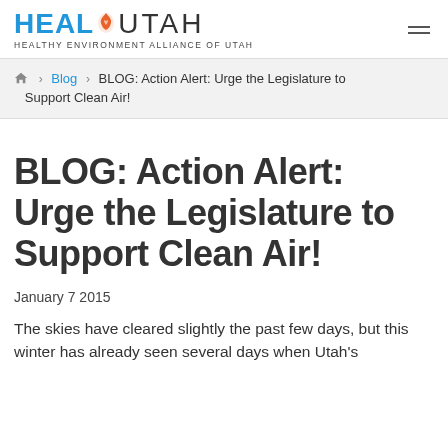HEAL UTAH — HEALTHY ENVIRONMENT ALLIANCE OF UTAH
Home > Blog > BLOG: Action Alert: Urge the Legislature to Support Clean Air!
BLOG: Action Alert: Urge the Legislature to Support Clean Air!
January 7 2015
The skies have cleared slightly the past few days, but this winter has already seen several days when Utah's